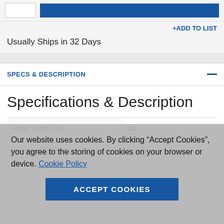+ADD TO LIST
Usually Ships in 32 Days
SPECS & DESCRIPTION
Specifications & Description
|  |  |
| --- | --- |
| Hood Width (in) | 48 |
| Exterior Width (in) | 54.25 |
Our website uses cookies. By clicking “Accept Cookies”, you agree to the storing of cookies on your browser or device. Cookie Policy
ACCEPT COOKIES